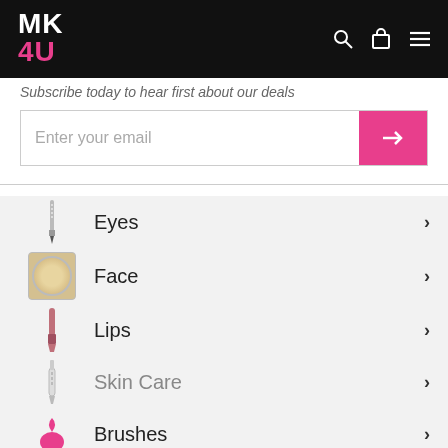MK 4U — navigation header with logo, search, cart, and menu icons
Subscribe today to hear first about our deals
[Figure (screenshot): Email subscription input with pink submit button containing right-arrow icon]
Eyes
Face
Lips
Skin Care
Brushes